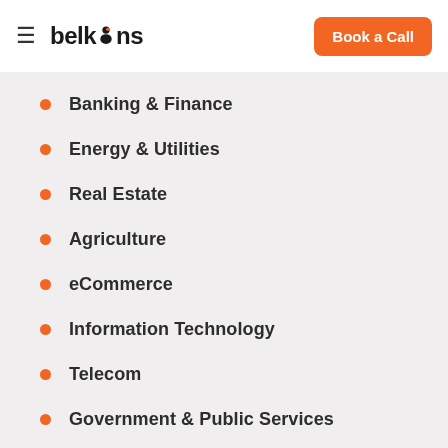belkins | Book a Call
Banking & Finance
Energy & Utilities
Real Estate
Agriculture
eCommerce
Information Technology
Telecom
Government & Public Services